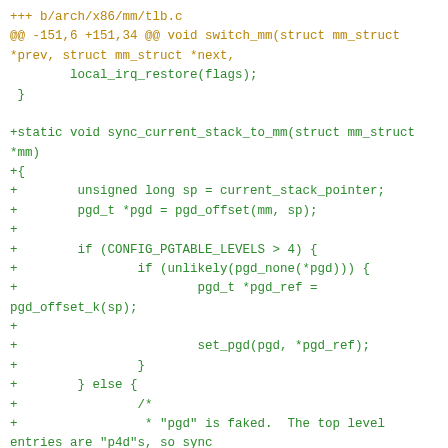Git diff code snippet from arch/x86/mm/tlb.c showing addition of sync_current_stack_to_mm function. File header in gold/amber color, added lines in green.